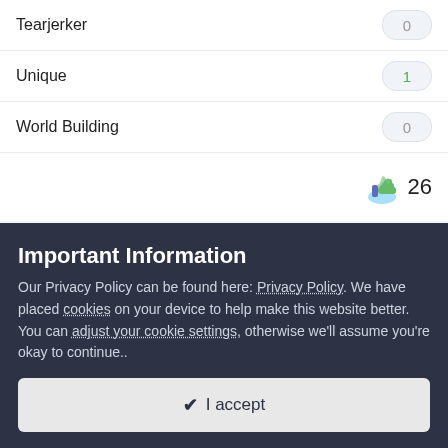Tearjerker   0
Unique   1
World Building   0
[Figure (illustration): Kudos icon (colorful thumbs up emoji) with count 26]
Followers   59
Important Information
Our Privacy Policy can be found here: Privacy Policy. We have placed cookies on your device to help make this website better. You can adjust your cookie settings, otherwise we'll assume you're okay to continue..
✔ I accept